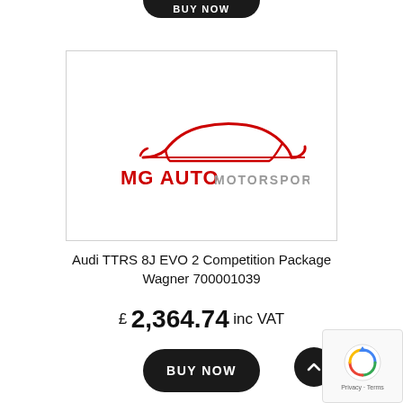[Figure (logo): MG Auto Motorsport Ltd logo — red car silhouette outline above red and grey text reading MG AUTO MOTORSPORT LTD]
Audi TTRS 8J EVO 2 Competition Package Wagner 700001039
£ 2,364.74 inc VAT